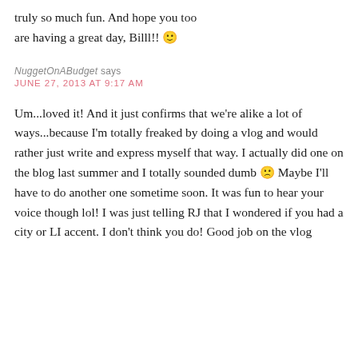truly so much fun. And hope you too are having a great day, Billl!! 🙂
NuggetOnABudget says
JUNE 27, 2013 AT 9:17 AM
Um...loved it! And it just confirms that we're alike a lot of ways...because I'm totally freaked by doing a vlog and would rather just write and express myself that way. I actually did one on the blog last summer and I totally sounded dumb 🙁 Maybe I'll have to do another one sometime soon. It was fun to hear your voice though lol! I was just telling RJ that I wondered if you had a city or LI accent. I don't think you do! Good job on the vlog